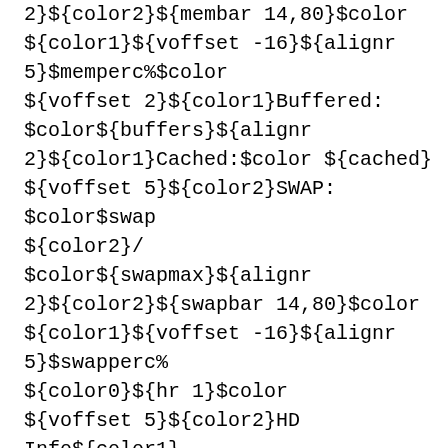2}${color2}${membar 14,80}$color ${color1}${voffset -16}${alignr 5}$memperc%$color ${voffset 2}${color1}Buffered: $color${buffers}${alignr 2}${color1}Cached:$color ${cached} ${voffset 5}${color2}SWAP: $color$swap ${color2}/ $color${swapmax}${alignr 2}${color2}${swapbar 14,80}$color ${color1}${voffset -16}${alignr 5}$swapperc% ${color0}${hr 1}$color ${voffset 5}${color2}HD Info${color1} -$color Free${color1} – Used – ${color2}Total ${voffset 5}${color1}Root: $color${fs_free_perc /}%${alignr 2}${fs_free